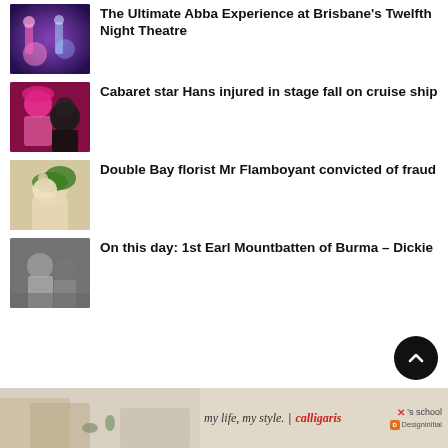The Ultimate Abba Experience at Brisbane's Twelfth Night Theatre
[Figure (photo): Colorful performers on stage with purple/blue lighting, ABBA performance]
Cabaret star Hans injured in stage fall on cruise ship
[Figure (photo): Colorful person in pink hat and clothing at a performance]
Double Bay florist Mr Flamboyant convicted of fraud
[Figure (photo): Man holding a large green leaf in front of his face]
On this day: 1st Earl Mountbatten of Burma – Dickie
[Figure (photo): Black and white photo of two people in water]
[Figure (photo): Advertisement banner: my life, my style. | calligaris with furniture imagery and Designinitial logo]